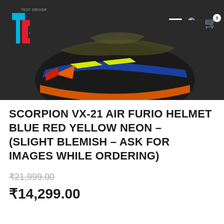[Figure (screenshot): Website header with dark background showing a colorful Scorpion VX-21 Air Furio helmet (blue, red, yellow neon), with a 'TD Test Driver' logo on the top left and hamburger menu, search icon, and cart icon on the top right.]
SCORPION VX-21 AIR FURIO HELMET BLUE RED YELLOW NEON – (SLIGHT BLEMISH – ASK FOR IMAGES WHILE ORDERING)
₹21,999.00
₹14,299.00